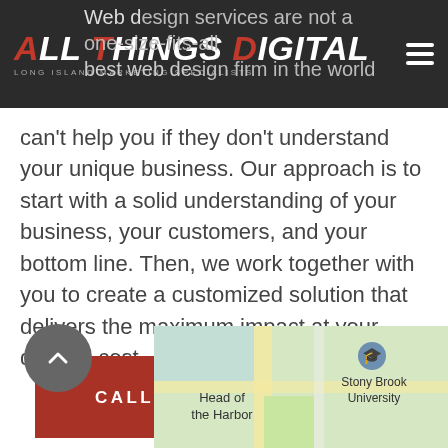All Things Digital – Long Island Marketing Specialists
Web design services are not a one-size-fits-all — the best web design firm in the world can't help you if they don't understand your unique business. Our approach is to start with a solid understanding of your business, your customers, and your bottom line. Then, we work together with you to create a customized solution that delivers the maximum impact at your desired cost..
CALL (631)406-9322
[Figure (map): Google Maps showing Head of the Harbor and Stony Brook University area on Long Island, NY]